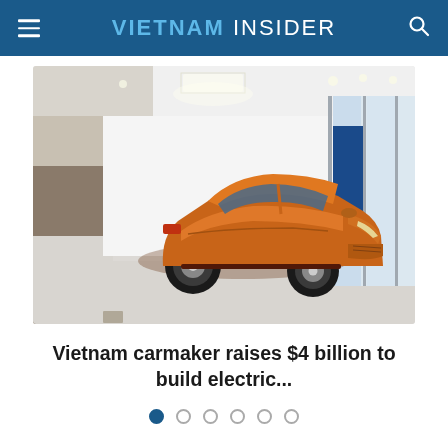VIETNAM INSIDER
[Figure (photo): An orange SUV (VinFast electric vehicle) displayed in a modern showroom with white walls, large glass windows, ceiling lights, and a polished concrete floor.]
Vietnam carmaker raises $4 billion to build electric...